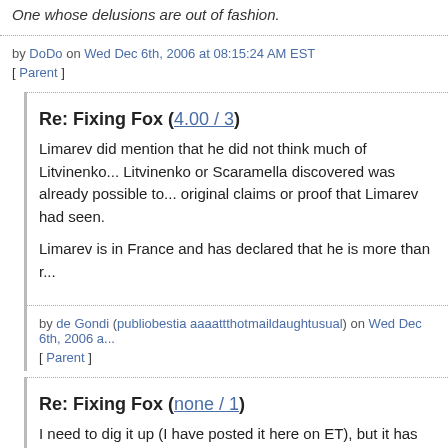One whose delusions are out of fashion.
by DoDo on Wed Dec 6th, 2006 at 08:15:24 AM EST
[ Parent ]
Re: Fixing Fox (4.00 / 3)
Limarev did mention that he did not think much of Litvinenko... Litvinenko or Scaramella discovered was already possible to... original claims or proof that Limarev had seen.
Limarev is in France and has declared that he is more than r...
by de Gondi (publiobestia aaaattthotmaildaughtusual) on Wed Dec 6th, 2006 a...
[ Parent ]
Re: Fixing Fox (none / 1)
I need to dig it up (I have posted it here on ET), but it has be... Litvinenko suspected Scaramella poisoned him.
Ok, found it. The Sun attributed it to Yuri Felshtinsky.